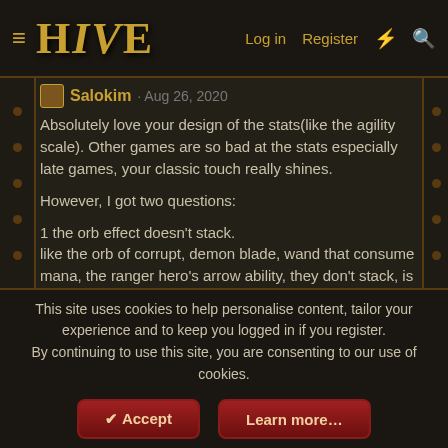HIVE — Log in  Register
Salokim · Aug 26, 2020
Absolutely love your design of the stats(like the agility scale). Other games are so bad at the stats especially late games, your classic touch really shines.

However, I got two questions:

1 the orb effect doesn't stack.
like the orb of corrupt, demon blade, wand that consume mana, the ranger hero's arrow ability, they don't stack, is this intentional? Cuz i feel weird that it is a waste to put any orb on her.

2 the effect of reducing magic damage doesn't stack.
Additionally ranger hero's ability increase another 20%. I can understand that magic resis cannot be stacked. But it is weird to have that much of items providing that stat.
This site uses cookies to help personalise content, tailor your experience and to keep you logged in if you register.
By continuing to use this site, you are consenting to our use of cookies.